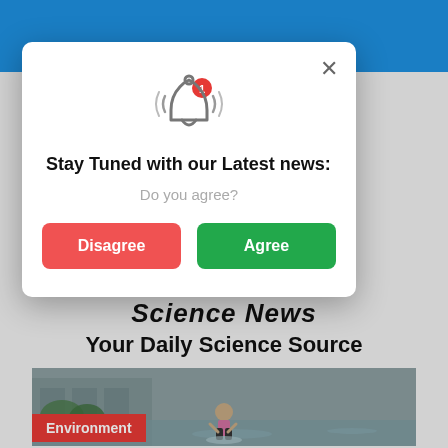[Figure (screenshot): Blue navigation header bar of a science news website]
[Figure (screenshot): Modal popup dialog with bell icon, 'Stay Tuned with our Latest news:' heading, 'Do you agree?' subtitle, and Disagree/Agree buttons]
Science News
Your Daily Science Source
[Figure (photo): A person wading through floodwater in a parking lot or street during a flood event, wearing a pink shirt]
Environment